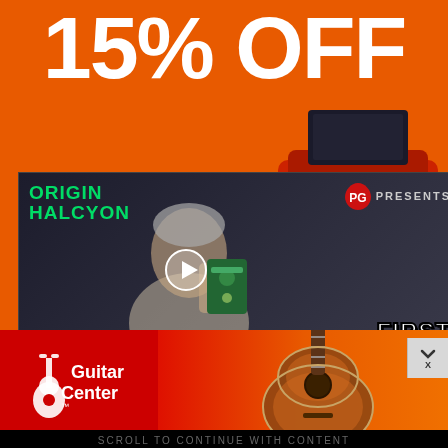15% OFF
[Figure (screenshot): Video thumbnail showing a man holding a guitar pedal with 'ORIGIN HALCYON' text overlay in green, PG Presents logo in top right, First Look logo in bottom right, and a play button in the center]
[Figure (photo): Guitar Center advertisement banner showing Guitar Center logo on red background and an acoustic guitar on orange/gradient background]
SCROLL TO CONTINUE WITH CONTENT